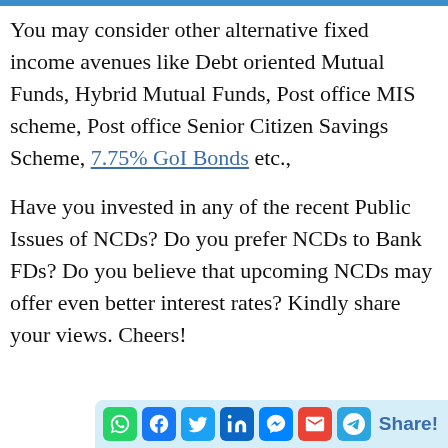You may consider other alternative fixed income avenues like Debt oriented Mutual Funds, Hybrid Mutual Funds, Post office MIS scheme, Post office Senior Citizen Savings Scheme, 7.75% GoI Bonds etc.,
Have you invested in any of the recent Public Issues of NCDs? Do you prefer NCDs to Bank FDs? Do you believe that upcoming NCDs may offer even better interest rates? Kindly share your views. Cheers!